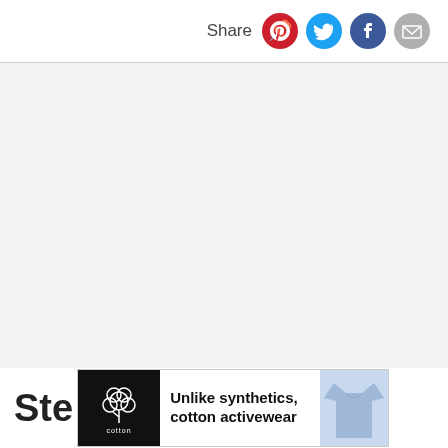Share
[Figure (infographic): Advertisement banner for cotton activewear. Shows cotton logo on black background, text 'Unlike synthetics, cotton activewear' in bold, and a light blue t-shirt image on the right.]